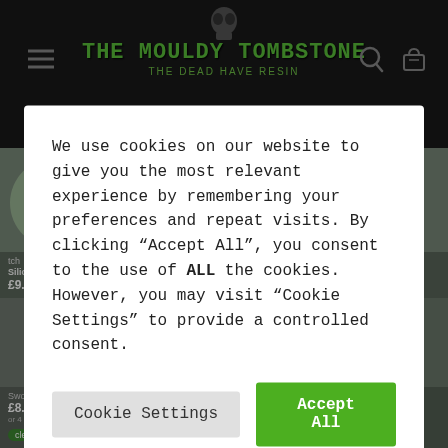The Mouldy Tombstone — The Dead Have Resin
[Figure (screenshot): Background e-commerce product grid showing silicone mould products with prices £9.00, £8.00, £9.00 and clearpay payment options]
We use cookies on our website to give you the most relevant experience by remembering your preferences and repeat visits. By clicking "Accept All", you consent to the use of ALL the cookies. However, you may visit "Cookie Settings" to provide a controlled consent.
Cookie Settings
Accept All